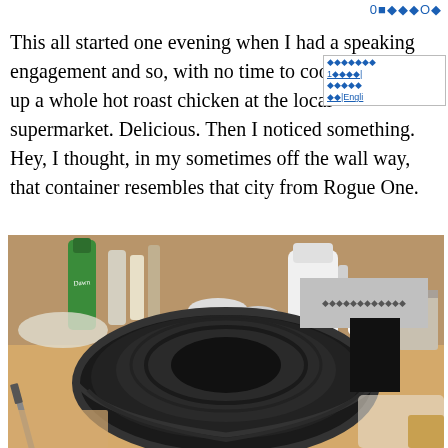0x♦♦♦O♦
This all started one evening when I had a speaking engagement and so, with no time to cook, I picked up a whole hot roast chicken at the local supermarket. Delicious. Then I noticed something. Hey, I thought, in my sometimes off the wall way, that container resembles that city from Rogue One.
[Figure (photo): A black plastic rotisserie chicken container sitting on a cluttered kitchen counter, surrounded by cleaning supplies, bottles, a knife, and various kitchen items.]